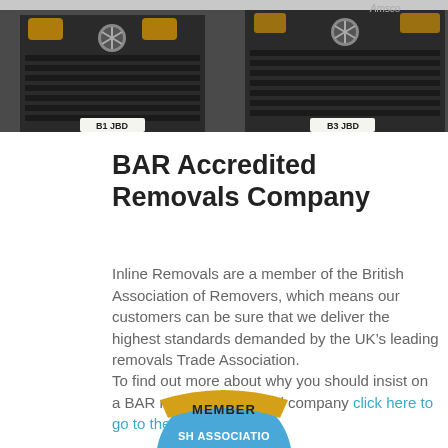[Figure (photo): Front view of Mercedes removal trucks with license plate B1 JBD, dark grille and star emblem visible]
BAR Accredited Removals Company
Inline Removals are a member of the British Association of Removers, which means our customers can be sure that we deliver the highest standards demanded by the UK’s leading removals Trade Association.
To find out more about why you should insist on a BAR registered removal company click here to go to the BAR website.
[Figure (logo): British Association of Removers member badge showing partial circular badge with MEMBER text in gold banner and SH ASSOCIATIO text visible]